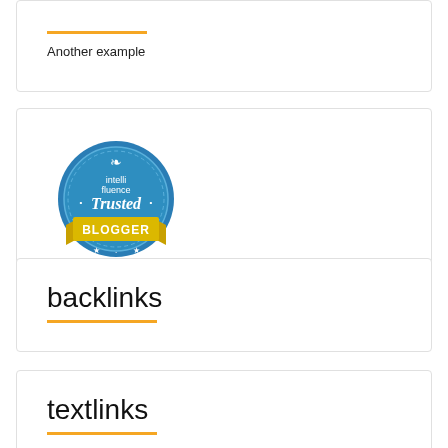Another example
[Figure (logo): Intellifluence Trusted Blogger badge — circular blue badge with yellow ribbon banner reading BLOGGER]
backlinks
textlinks